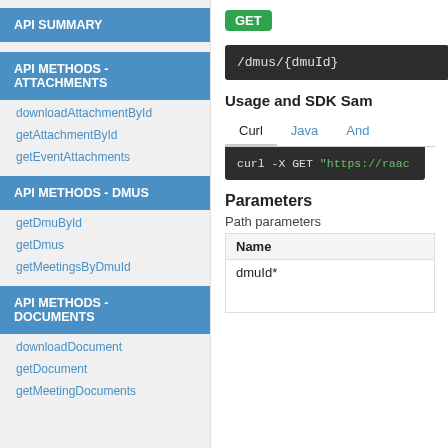API SUMMARY
API METHODS - ATTACHMENTS
downloadAttachmentById
getAttachmentById
getEventAttachments
API METHODS - DMUS
getDmuById
getDmus
getMeetingsByDmuId
API METHODS - DOCUMENTS
downloadDocument
getDocument
getMeetingDocuments
GET
/dmus/{dmuId}
Usage and SDK Sam
Curl  Java  And
curl -X GET "https://raac
Parameters
Path parameters
| Name |
| --- |
| dmuId* |